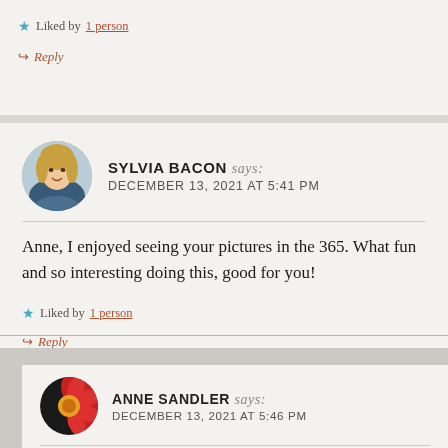Liked by 1 person
Reply
SYLVIA BACON says: DECEMBER 13, 2021 AT 5:41 PM
Anne, I enjoyed seeing your pictures in the 365. What fun and so interesting doing this, good for you!
Liked by 1 person
Reply
ANNE SANDLER says: DECEMBER 13, 2021 AT 5:46 PM